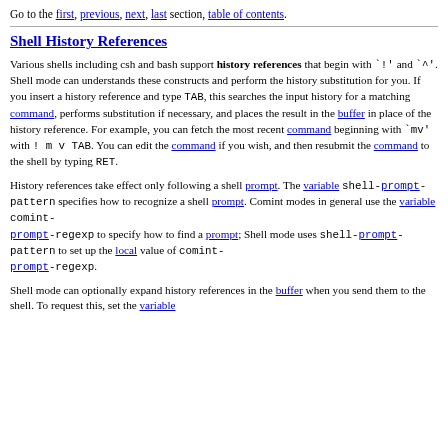Go to the first, previous, next, last section, table of contents.
Shell History References
Various shells including csh and bash support history references that begin with `!' and `^'. Shell mode can understands these constructs and perform the history substitution for you. If you insert a history reference and type TAB, this searches the input history for a matching command, performs substitution if necessary, and places the result in the buffer in place of the history reference. For example, you can fetch the most recent command beginning with `mv' with ! m v TAB. You can edit the command if you wish, and then resubmit the command to the shell by typing RET.
History references take effect only following a shell prompt. The variable shell-prompt-pattern specifies how to recognize a shell prompt. Comint modes in general use the variable comint-prompt-regexp to specify how to find a prompt; Shell mode uses shell-prompt-pattern to set up the local value of comint-prompt-regexp.
Shell mode can optionally expand history references in the buffer when you send them to the shell. To request this, set the variable